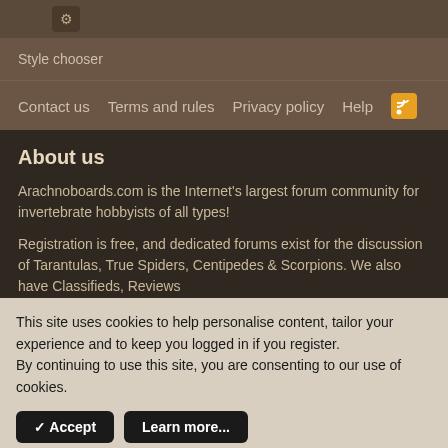[Figure (screenshot): Top banner strip showing partial website header]
Style chooser
Contact us   Terms and rules   Privacy policy   Help
About us
Arachnoboards.com is the Internet's largest forum community for invertebrate hobbyists of all types!
Registration is free, and dedicated forums exist for the discussion of Tarantulas, True Spiders, Centipedes & Scorpions. We also have Classifieds, Reviews...
Want to help sup...
Upgrade to an Arachnosupporter account.
Hello there, why not take a few seconds to register on our forums and become part of the community? Just click here.
This site uses cookies to help personalise content, tailor your experience and to keep you logged in if you register.
By continuing to use this site, you are consenting to our use of cookies.